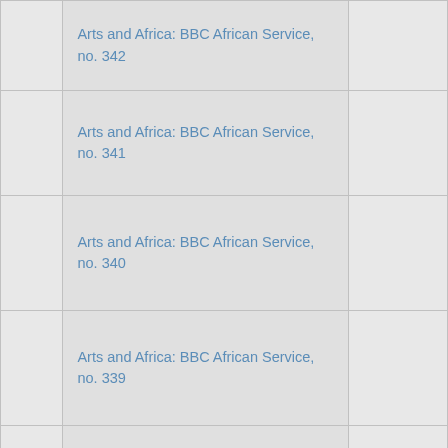|  | Arts and Africa: BBC African Service, no. 342 |  |
|  | Arts and Africa: BBC African Service, no. 341 |  |
|  | Arts and Africa: BBC African Service, no. 340 |  |
|  | Arts and Africa: BBC African Service, no. 339 |  |
|  | Arts and Africa: BBC African Service, |  |